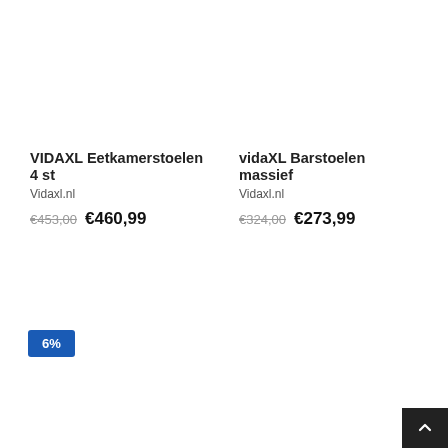VIDAXL Eetkamerstoelen 4 st
Vidaxl.nl
€453,00  €460,99
vidaXL Barstoelen massief
Vidaxl.nl
€324,00  €273,99
6%